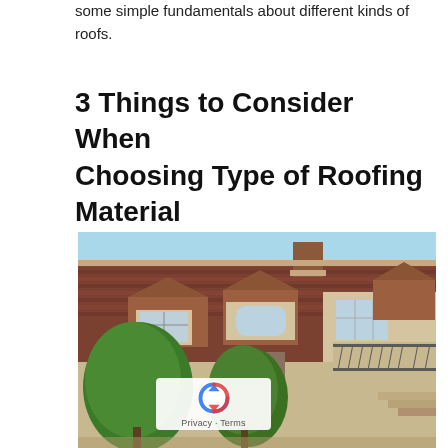some simple fundamentals about different kinds of roofs.
3 Things to Consider When Choosing Type of Roofing Material
[Figure (photo): Exterior photo of a large residential house with terracotta/clay tile roof featuring dormers and chimneys, stone facade, arched windows, balcony with wrought iron railing, and trees in front.]
Privacy · Terms